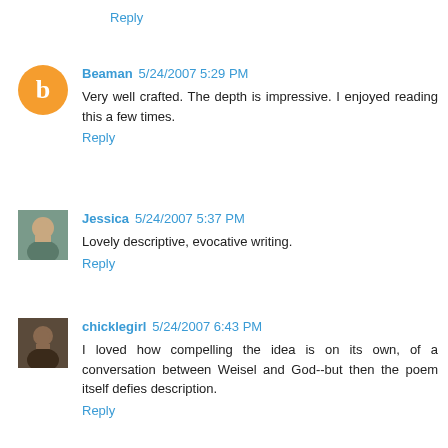Reply
Beaman 5/24/2007 5:29 PM
Very well crafted. The depth is impressive. I enjoyed reading this a few times.
Reply
Jessica 5/24/2007 5:37 PM
Lovely descriptive, evocative writing.
Reply
chicklegirl 5/24/2007 6:43 PM
I loved how compelling the idea is on its own, of a conversation between Weisel and God--but then the poem itself defies description.
Reply